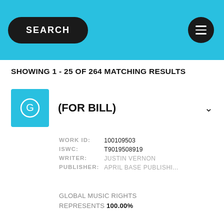SEARCH
SHOWING 1 - 25 OF 264 MATCHING RESULTS
(FOR BILL)
| Field | Value |
| --- | --- |
| WORK ID: | 100109503 |
| ISWC: | T9019508919 |
| WRITER: | JUSTIN VERNON |
| PUBLISHER: | APRIL BASE PUBLISHI... |
GLOBAL MUSIC RIGHTS REPRESENTS 100.00%
10DEATHBREAST??